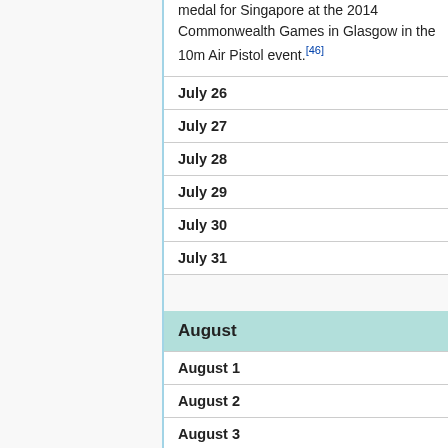medal for Singapore at the 2014 Commonwealth Games in Glasgow in the 10m Air Pistol event.[46]
July 26
July 27
July 28
July 29
July 30
July 31
August
August 1
August 2
August 3